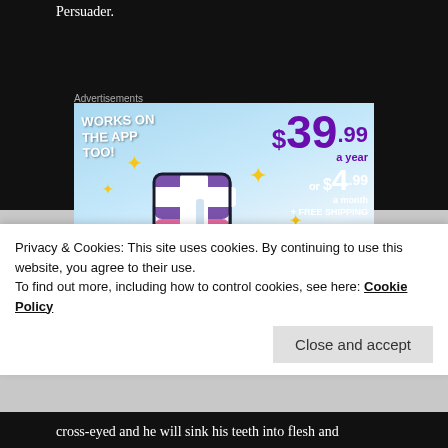Persuader.
Advertisements
[Figure (illustration): Tumblr advertisement showing a stylized 't' logo with sparkles on a blue sky background. Text reads: WORKS ON THE APP TOO! $39.99 a year or $4.99 a month + FREE SHIPPING]
Privacy & Cookies: This site uses cookies. By continuing to use this website, you agree to their use. To find out more, including how to control cookies, see here: Cookie Policy
Close and accept
cross-eyed and he will sink his teeth into flesh and